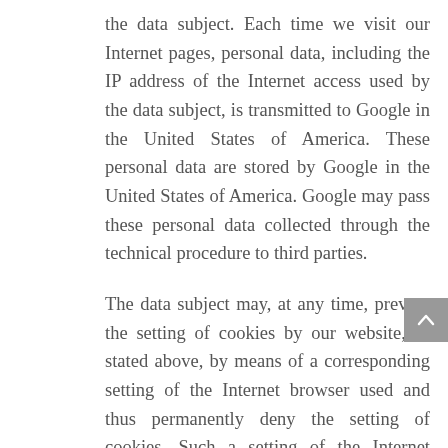the data subject. Each time we visit our Internet pages, personal data, including the IP address of the Internet access used by the data subject, is transmitted to Google in the United States of America. These personal data are stored by Google in the United States of America. Google may pass these personal data collected through the technical procedure to third parties.
The data subject may, at any time, prevent the setting of cookies by our website, as stated above, by means of a corresponding setting of the Internet browser used and thus permanently deny the setting of cookies. Such a setting of the Internet browser used would also prevent Google from placing a conversion